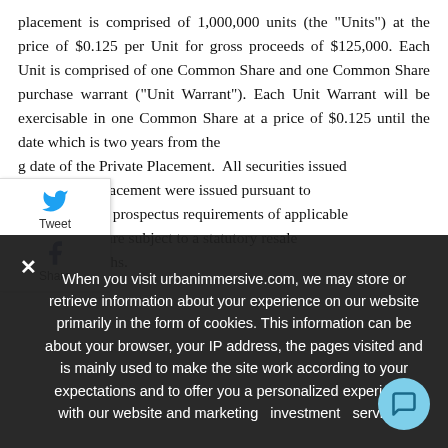placement is comprised of 1,000,000 units (the "Units") at the price of $0.125 per Unit for gross proceeds of $125,000. Each Unit is comprised of one Common Share and one Common Share purchase warrant ("Unit Warrant"). Each Unit Warrant will be exercisable in one Common Share at a price of $0.125 until the date which is two years from the closing date of the Private Placement. All securities issued in the Private Placement were issued pursuant to exemptions from the prospectus requirements of applicable securities laws and are subject to a statutory resale restriction of 4 months.
[Figure (other): Social share widget with Twitter (Tweet) and Facebook (Share) buttons]
When you visit urbanimmersive.com, we may store or retrieve information about your experience on our website primarily in the form of cookies. This information can be about your browser, your IP address, the pages visited and is mainly used to make the site work according to your expectations and to offer you a personalized experience with our website and marketing investment services.